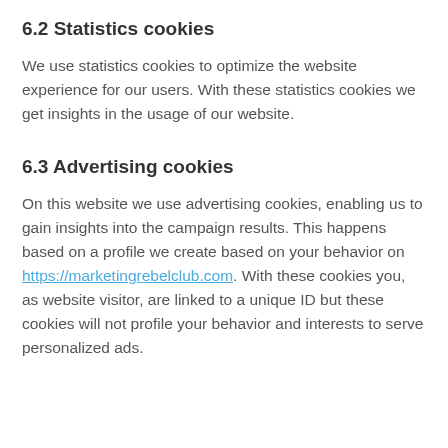6.2 Statistics cookies
We use statistics cookies to optimize the website experience for our users. With these statistics cookies we get insights in the usage of our website.
6.3 Advertising cookies
On this website we use advertising cookies, enabling us to gain insights into the campaign results. This happens based on a profile we create based on your behavior on https://marketingrebelclub.com. With these cookies you, as website visitor, are linked to a unique ID but these cookies will not profile your behavior and interests to serve personalized ads.